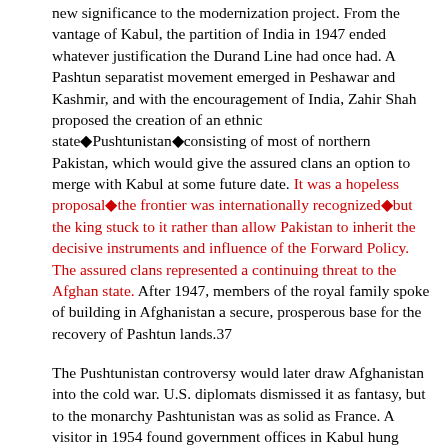new significance to the modernization project. From the vantage of Kabul, the partition of India in 1947 ended whatever justification the Durand Line had once had. A Pashtun separatist movement emerged in Peshawar and Kashmir, and with the encouragement of India, Zahir Shah proposed the creation of an ethnic state◆Pushtunistan◆consisting of most of northern Pakistan, which would give the assured clans an option to merge with Kabul at some future date. It was a hopeless proposal◆the frontier was internationally recognized◆but the king stuck to it rather than allow Pakistan to inherit the decisive instruments and influence of the Forward Policy. The assured clans represented a continuing threat to the Afghan state. After 1947, members of the royal family spoke of building in Afghanistan a secure, prosperous base for the recovery of Pashtun lands.37
The Pushtunistan controversy would later draw Afghanistan into the cold war. U.S. diplomats dismissed it as fantasy, but to the monarchy Pashtunistan was as solid as France. A visitor in 1954 found government offices in Kabul hung with maps on which the ◆narrow, wriggly object◆ plainly appeared, ◆wedged in between Afghanistan on one flank, and the remains of West Pakistan on the other.◆38 The dispute periodically turned hot, with reciprocal